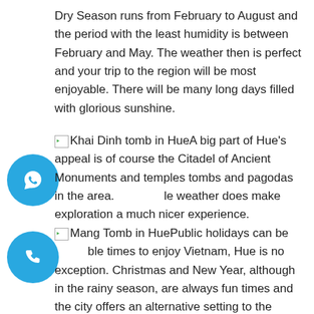Dry Season runs from February to August and the period with the least humidity is between February and May. The weather then is perfect and your trip to the region will be most enjoyable. There will be many long days filled with glorious sunshine.
[Khai Dinh tomb in Hue] A big part of Hue's appeal is of course the Citadel of Ancient Monuments and temples tombs and pagodas in the area. [suitable] weather does make exploration a much nicer experience.
[Mang Tomb in Hue] Public holidays can be [suitable] times to enjoy Vietnam, Hue is no exception. Christmas and New Year, although in the rainy season, are always fun times and the city offers an alternative setting to the usual cold and snowy venues. Check the lunar calendar also as on the 14th day of each lunar month, it is full moon. Hue